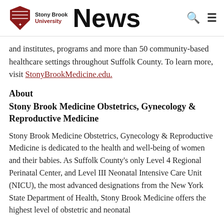Stony Brook University News
and institutes, programs and more than 50 community-based healthcare settings throughout Suffolk County. To learn more, visit StonyBrookMedicine.edu.
About
Stony Brook Medicine Obstetrics, Gynecology & Reproductive Medicine
Stony Brook Medicine Obstetrics, Gynecology & Reproductive Medicine is dedicated to the health and well-being of women and their babies. As Suffolk County's only Level 4 Regional Perinatal Center, and Level III Neonatal Intensive Care Unit (NICU), the most advanced designations from the New York State Department of Health, Stony Brook Medicine offers the highest level of obstetric and neonatal care available for our babies area. To learn more,